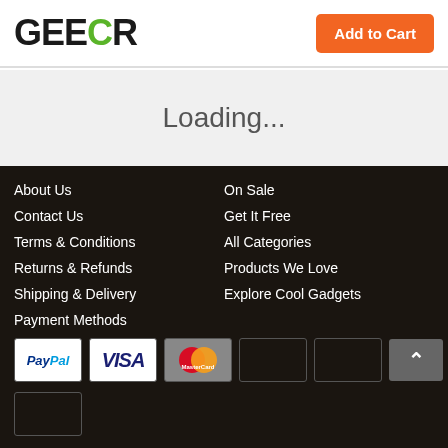GEECR | Add to Cart
Loading...
About Us
Contact Us
Terms & Conditions
Returns & Refunds
Shipping & Delivery
Payment Methods
On Sale
Get It Free
All Categories
Products We Love
Explore Cool Gadgets
[Figure (screenshot): Payment method icons: PayPal, Visa, MasterCard, and several empty/dark placeholder boxes, plus a back-to-top arrow button]